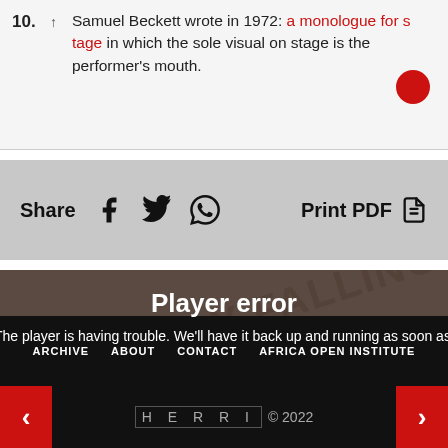10. ↑ Samuel Beckett wrote in 1972: a monologue for stage in which the sole visual on stage is the performer's mouth.
Share   [Facebook] [Twitter] [WhatsApp]   Print PDF
Player error
The player is having trouble. We'll have it back up and running as soon as possible.
ARCHIVE   ABOUT   CONTACT   AFRICA OPEN INSTITUTE
HERRI © 2022